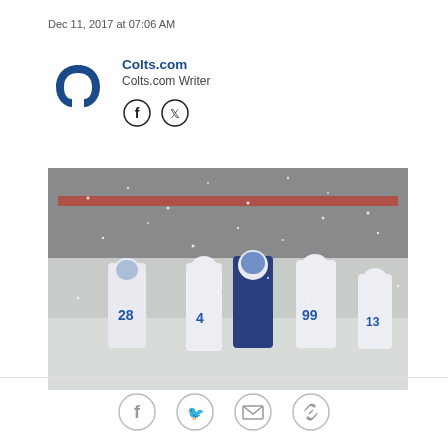Dec 11, 2017 at 07:06 AM
Colts.com
Colts.com Writer
[Figure (photo): Indianapolis Colts players and staff walking in heavy snow on a snow-covered field before a game. Players wearing white Colts uniforms with numbers 28, 4, 99, and 13 visible. One person in dark blue coat walks in the center.]
[Figure (other): Bottom share icons: Facebook, Twitter, Email, Link]